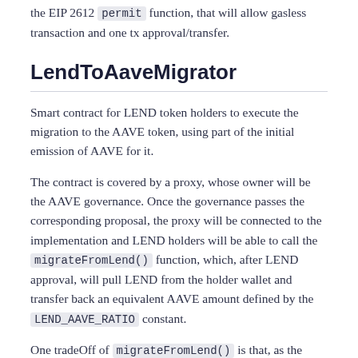the EIP 2612 permit function, that will allow gasless transaction and one tx approval/transfer.
LendToAaveMigrator
Smart contract for LEND token holders to execute the migration to the AAVE token, using part of the initial emission of AAVE for it.
The contract is covered by a proxy, whose owner will be the AAVE governance. Once the governance passes the corresponding proposal, the proxy will be connected to the implementation and LEND holders will be able to call the migrateFromLend() function, which, after LEND approval, will pull LEND from the holder wallet and transfer back an equivalent AAVE amount defined by the LEND_AAVE_RATIO constant.
One tradeOff of migrateFromLend() is that, as the